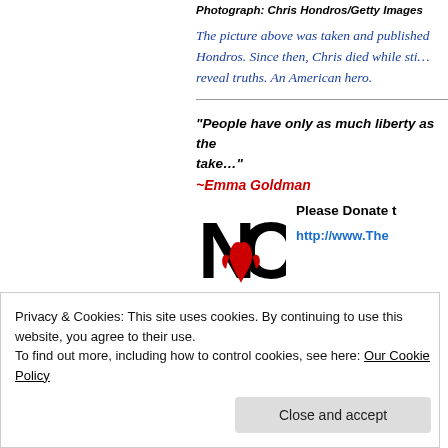Photograph: Chris Hondros/Getty Images
The picture above was taken and published by Hondros. Since then, Chris died while sti... reveal truths. An American hero.
“People have only as much liberty as the... take…”
~Emma Goldman
[Figure (logo): NO logo with red design]
Please Donate t...
http://www.The...
Privacy & Cookies: This site uses cookies. By continuing to use this website, you agree to their use.
To find out more, including how to control cookies, see here: Our Cookie Policy